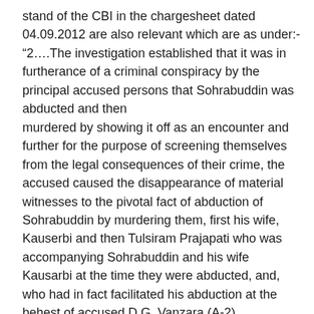stand of the CBI in the chargesheet dated 04.09.2012 are also relevant which are as under:- “2….The investigation established that it was in furtherance of a criminal conspiracy by the principal accused persons that Sohrabuddin was abducted and then murdered by showing it off as an encounter and further for the purpose of screening themselves from the legal consequences of their crime, the accused caused the disappearance of material witnesses to the pivotal fact of abduction of Sohrabuddin by murdering them, first his wife, Kauserbi and then Tulsiram Prajapati who was accompanying Sohrabuddin and his wife Kausarbi at the time they were abducted, and, who had in fact facilitated his abduction at the behest of accused D.G. Vanzara (A-2)